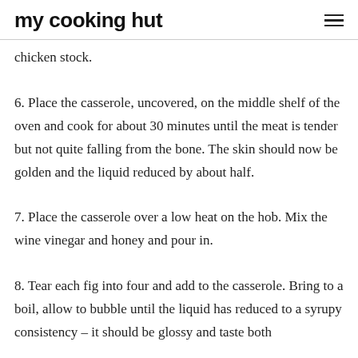my cooking hut
chicken stock.
6. Place the casserole, uncovered, on the middle shelf of the oven and cook for about 30 minutes until the meat is tender but not quite falling from the bone. The skin should now be golden and the liquid reduced by about half.
7. Place the casserole over a low heat on the hob. Mix the wine vinegar and honey and pour in.
8. Tear each fig into four and add to the casserole. Bring to a boil, allow to bubble until the liquid has reduced to a syrupy consistency – it should be glossy and taste both